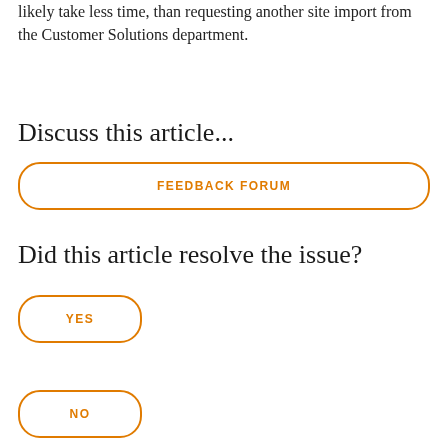likely take less time, than requesting another site import from the Customer Solutions department.
Discuss this article...
[Figure (other): Orange outlined rounded rectangle button labeled FEEDBACK FORUM]
Did this article resolve the issue?
[Figure (other): Orange outlined rounded rectangle button labeled YES]
[Figure (other): Orange outlined rounded rectangle button labeled NO]